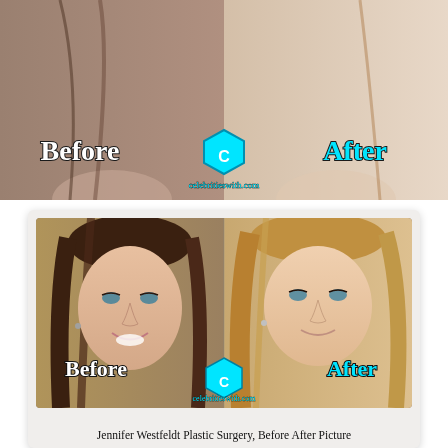[Figure (photo): Top before-and-after composite photo of a woman (partially cropped), with 'Before' text on left, a cyan hexagon logo in center, and 'After' text on right, watermarked with 'celebritieswith.com']
[Figure (photo): Before-and-after composite photo of Jennifer Westfeldt showing two side-by-side portraits. Left shows brunette younger appearance (Before), right shows blonde more recent appearance (After). Watermarked with 'celebritieswith.com' logo and cyan hexagon icon.]
Jennifer Westfeldt Plastic Surgery, Before After Picture